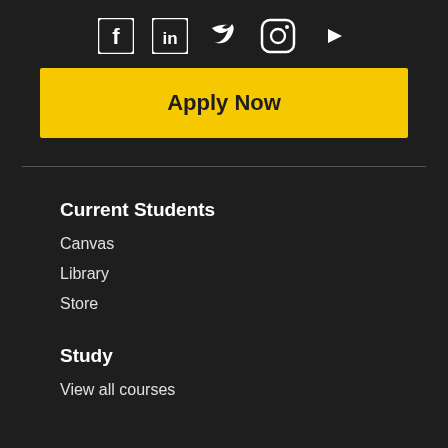[Figure (other): Social media icons row: Facebook, LinkedIn, Twitter, Instagram, YouTube]
Apply Now
Current Students
Canvas
Library
Store
Study
View all courses